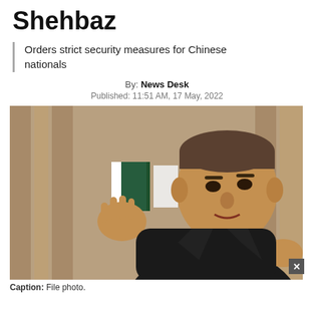Shehbaz
Orders strict security measures for Chinese nationals
By: News Desk
Published: 11:51 AM, 17 May, 2022
[Figure (photo): Photo of Shehbaz Sharif gesturing with both hands, wearing a dark suit and tie, with a Pakistan flag visible in the background]
Caption: File photo.